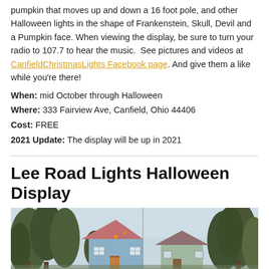pumpkin that moves up and down a 16 foot pole, and other Halloween lights in the shape of Frankenstein, Skull, Devil and a Pumpkin face. When viewing the display, be sure to turn your radio to 107.7 to hear the music.  See pictures and videos at CanfieldChristmasLights Facebook page. And give them a like while you're there!
When: mid October through Halloween
Where: 333 Fairview Ave, Canfield, Ohio 44406
Cost: FREE
2021 Update: The display will be up in 2021
Lee Road Lights Halloween Display
[Figure (photo): Outdoor photo showing houses with Halloween light displays and trees in the background at dusk/evening]